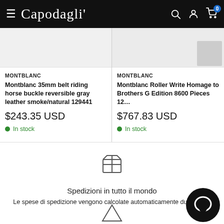Capodagli — navigation header with hamburger menu, logo, search, account, and cart (0) icons
MONTBLANC
Montblanc 35mm belt riding horse buckle reversible gray leather smoke/natural 129441
$243.35 USD
In stock
MONTBLANC
Montblanc Roller Write Homage to Brothers G Edition 8600 Pieces 12...
$767.83 USD
In stock
[Figure (illustration): Package/box icon representing shipping]
Spedizioni in tutto il mondo
Le spese di spedizione vengono calcolate automaticamente dura...kout
[Figure (illustration): Chat support bubble widget (Intercom) and partial bottom icon]